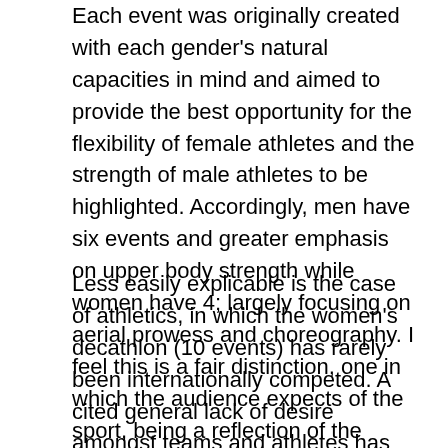Each event was originally created with each gender's natural capacities in mind and aimed to provide the best opportunity for the flexibility of female athletes and the strength of male athletes to be highlighted. Accordingly, men have six events and greater emphasis on upper body strength while women have 4; largely focusing on aerial prowess and choreography. I feel this is a fair distinction, one in which the audience expects of the sport, being a reflection of the gender specific merits each sex can base their routines on.
Less easily explicable is the case of athletics, in which the women's decathlon (10 events) has rarely been internationally competed. A cited general lack of desire amongst teams and athletes has been the reason for leaving the heptathlon (7 events) as the largest multi-discipline event for women, according to Toni Minichello, coach of Olympic Heptathlon Jessica Ennis-Hill. Funding issues and logistical difficulty have